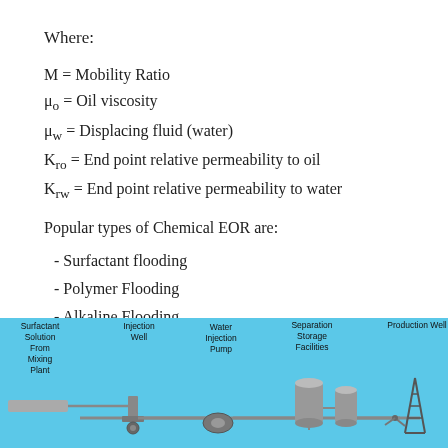Where:
M = Mobility Ratio
μo = Oil viscosity
μw = Displacing fluid (water)
Kro = End point relative permeability to oil
Krw = End point relative permeability to water
Popular types of Chemical EOR are:
- Surfactant flooding
- Polymer Flooding
- Alkaline Flooding
- Alkali-Surfactant-Polymer Flooding (ASP)
[Figure (schematic): Diagram showing chemical EOR process with components: Surfactant Solution From Mixing Plant, Injection Well, Water Injection Pump, Separation Storage Facilities, and Production Well, connected by pipes on a blue background.]